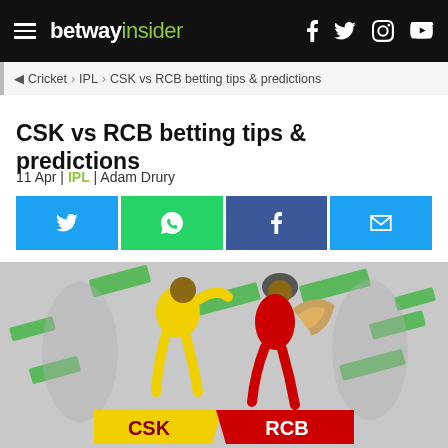betway insider
Cricket > IPL > CSK vs RCB betting tips & predictions
CSK vs RCB betting tips & predictions
11 Apr | IPL | Adam Drury
[Figure (infographic): Social share buttons: Twitter (blue), WhatsApp (green), Facebook (dark blue), Email (light blue)]
[Figure (illustration): Hero image showing a CSK bowler in yellow kit and an RCB batsman in red kit facing each other, with green diagonal design elements and a banner showing CSK vs RCB on a grey background]